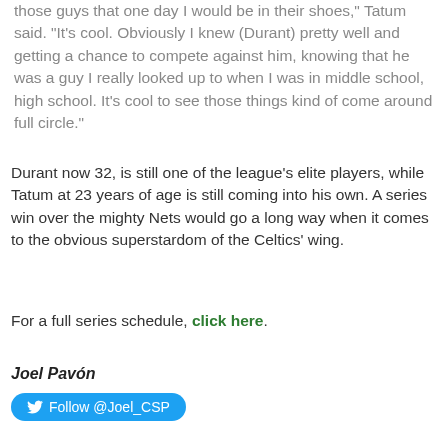those guys that one day I would be in their shoes," Tatum said. "It's cool. Obviously I knew (Durant) pretty well and getting a chance to compete against him, knowing that he was a guy I really looked up to when I was in middle school, high school. It's cool to see those things kind of come around full circle."
Durant now 32, is still one of the league's elite players, while Tatum at 23 years of age is still coming into his own. A series win over the mighty Nets would go a long way when it comes to the obvious superstardom of the Celtics' wing.
For a full series schedule, click here.
Joel Pavón
Follow @Joel_CSP